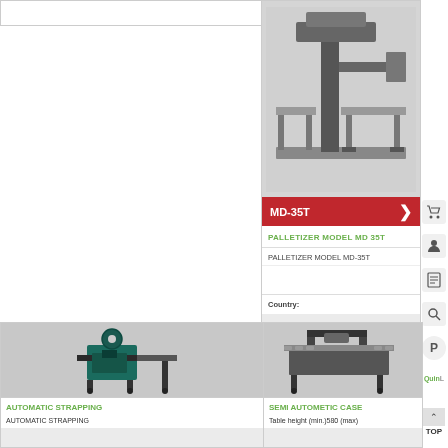[Figure (photo): Palletizer machine MD-35T product photo, 3D rendered industrial machine on grey background]
MD-35T
PALLETIZER MODEL MD 35T
PALLETIZER MODEL MD-35T
Country:
[Figure (photo): Automatic strapping machine, teal/dark colored industrial strapping machine with large spool on top]
AUTOMATIC STRAPPING
AUTOMATIC STRAPPING
[Figure (photo): Semi automatic case sealer machine, industrial machine with rollers]
SEMI AUTOMETIC CASE
Table height (min.)580 (max)